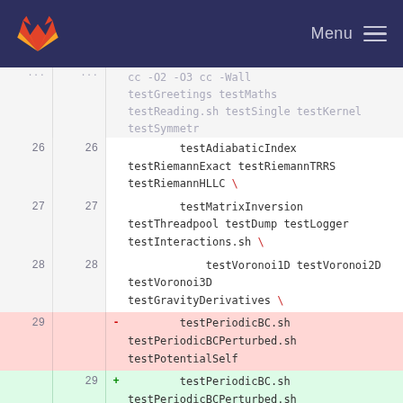GitLab — Menu
[Figure (screenshot): GitLab diff view showing code lines 26-31 with deletions (red) and additions (green) of test function names including testAdiabaticIndex, testRiemannExact, testRiemannTRRS, testRiemannHLLC, testMatrixInversion, testThreadpool, testDump, testLogger, testInteractions.sh, testVoronoi1D, testVoronoi2D, testVoronoi3D, testGravityDerivatives, testPeriodicBC.sh, testPeriodicBCPerturbed.sh, testPotentialSelf, testPotentialPair]